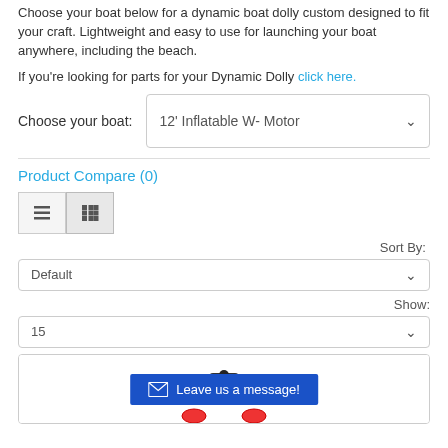Choose your boat below for a dynamic boat dolly custom designed to fit your craft. Lightweight and easy to use for launching your boat anywhere, including the beach.
If you're looking for parts for your Dynamic Dolly click here.
Choose your boat: [dropdown] 12' Inflatable W- Motor
Product Compare (0)
[Figure (screenshot): View toggle buttons: list view and grid view icons]
Sort By:
Default [dropdown]
Show:
15 [dropdown]
[Figure (photo): Product card with boat dolly image and 'Leave us a message!' button overlay]